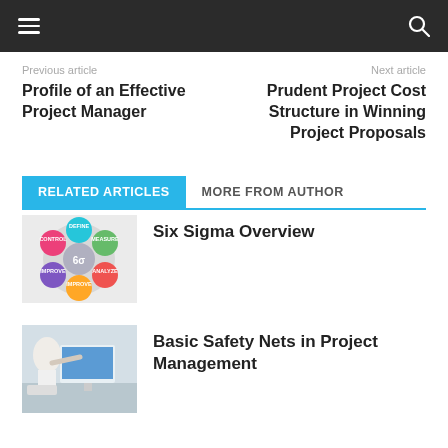Navigation bar with hamburger menu and search icon
Previous article
Profile of an Effective Project Manager
Next article
Prudent Project Cost Structure in Winning Project Proposals
RELATED ARTICLES   MORE FROM AUTHOR
[Figure (illustration): Six Sigma circular diagram with colored segments labeled Define, Measure, Analyze, Improve, Control and 6σ in center]
Six Sigma Overview
[Figure (photo): Business person pointing at a computer monitor screen in an office setting]
Basic Safety Nets in Project Management